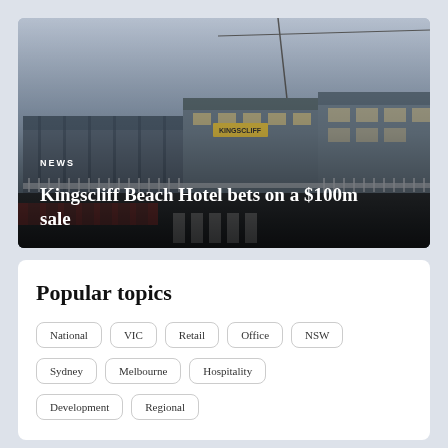[Figure (photo): Exterior photo of Kingscliff Beach Hotel at dusk, showing a coastal hotel building with signage, street crossing, and overcast sky. Text overlay reads NEWS and article title.]
Kingscliff Beach Hotel bets on a $100m sale
Popular topics
National
VIC
Retail
Office
NSW
Sydney
Melbourne
Hospitality
Development
Regional